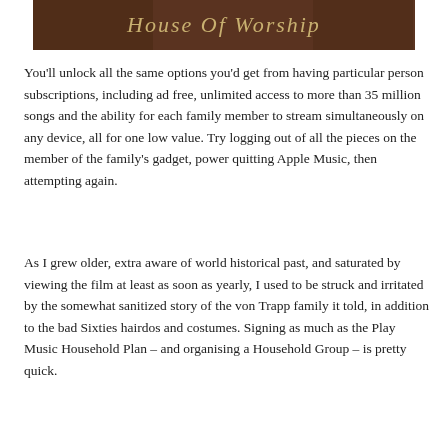[Figure (photo): Album cover image with dark brown background and cursive text reading 'House Of Worship']
You'll unlock all the same options you'd get from having particular person subscriptions, including ad free, unlimited access to more than 35 million songs and the ability for each family member to stream simultaneously on any device, all for one low value. Try logging out of all the pieces on the member of the family’s gadget, power quitting Apple Music, then attempting again.
As I grew older, extra aware of world historical past, and saturated by viewing the film at least as soon as yearly, I used to be struck and irritated by the somewhat sanitized story of the von Trapp family it told, in addition to the bad Sixties hairdos and costumes. Signing as much as the Play Music Household Plan – and organising a Household Group – is pretty quick.